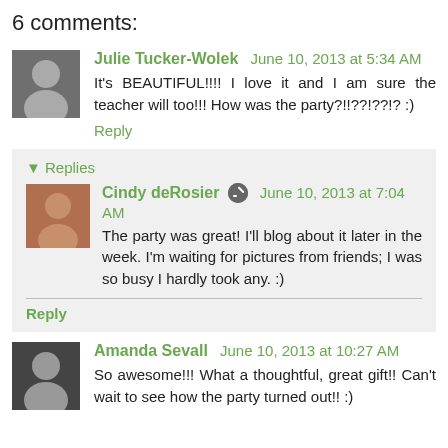6 comments:
Julie Tucker-Wolek June 10, 2013 at 5:34 AM
It's BEAUTIFUL!!!! I love it and I am sure the teacher will too!!! How was the party?!!??!??!? :)
Reply
Replies
Cindy deRosier June 10, 2013 at 7:04 AM
The party was great! I'll blog about it later in the week. I'm waiting for pictures from friends; I was so busy I hardly took any. :)
Reply
Amanda Sevall June 10, 2013 at 10:27 AM
So awesome!!! What a thoughtful, great gift!! Can't wait to see how the party turned out!! :)